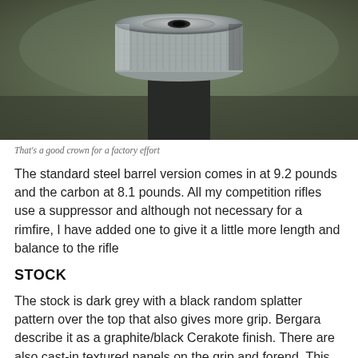[Figure (photo): Close-up photo of the muzzle crown of a rifle barrel, showing a knurled metal crown with the bore visible at center, against a blurred outdoor background.]
That's a good crown for a factory effort
The standard steel barrel version comes in at 9.2 pounds and the carbon at 8.1 pounds. All my competition rifles use a suppressor and although not necessary for a rimfire, I have added one to give it a little more length and balance to the rifle
STOCK
The stock is dark grey with a black random splatter pattern over the top that also gives more grip. Bergara describe it as a graphite/black Cerakote finish. There are also cast-in textured panels on the grip and forend. This gives the look and feel of